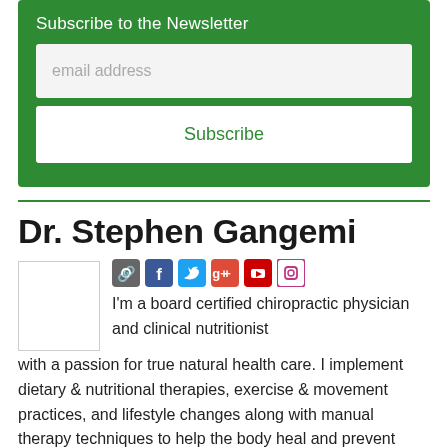Subscribe to the Newsletter
email address
Subscribe
Dr. Stephen Gangemi
[Figure (other): Social media icons: link, Facebook, Twitter, Google+, YouTube, Instagram]
I'm a board certified chiropractic physician and clinical nutritionist with a passion for true natural health care. I implement dietary & nutritional therapies, exercise & movement practices, and lifestyle changes along with manual therapy techniques to help the body heal and prevent